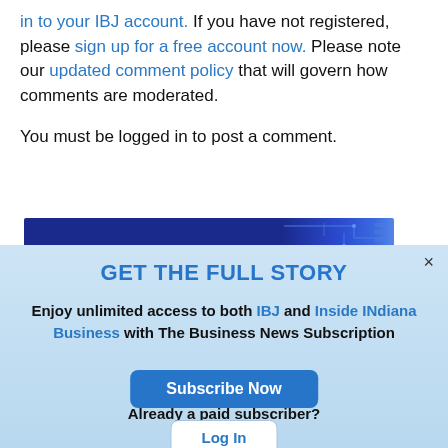in to your IBJ account. If you have not registered, please sign up for a free account now. Please note our updated comment policy that will govern how comments are moderated.
You must be logged in to post a comment.
[Figure (screenshot): Dark blue banner strip with circuit board pattern on the right side]
GET THE FULL STORY
Enjoy unlimited access to both IBJ and Inside INdiana Business with The Business News Subscription
Subscribe Now
Already a paid subscriber?
Log In